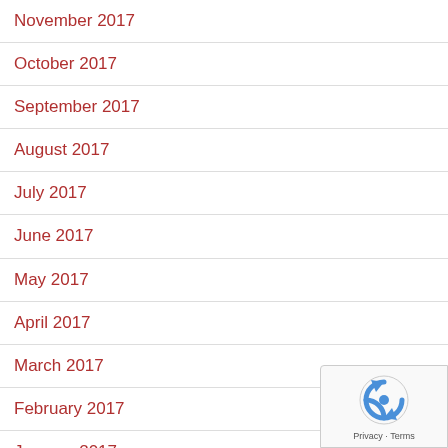November 2017
October 2017
September 2017
August 2017
July 2017
June 2017
May 2017
April 2017
March 2017
February 2017
January 2017
December 2016
November 2016
[Figure (logo): reCAPTCHA badge with Privacy and Terms links]